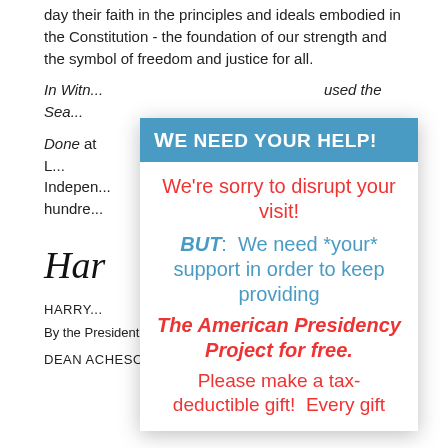day their faith in the principles and ideals embodied in the Constitution - the foundation of our strength and the symbol of freedom and justice for all.
In Witn... used the Sea...
Done at... he year of our L... Independence... hundre...
[Figure (other): Modal overlay popup with header 'WE NEED YOUR HELP!' in blue background, and body text in red and blue about disrupting visit and requesting support for The American Presidency Project]
HARRY...
By the President:
DEAN ACHESON,